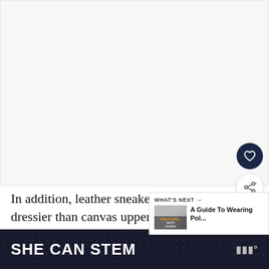[Figure (photo): Large image area showing a light gray/white placeholder image region]
In addition, leather sneakers will always be dressier than canvas uppers.
[Figure (screenshot): WHAT'S NEXT overlay widget showing 'A Guide To Wearing Pol...' with a thumbnail labeled 'POLO SHIRT WITH KHAKI']
[Figure (other): Heart/like button icon - dark navy circle with heart symbol]
[Figure (other): Share button icon - white circle with share/network symbol]
SHE CAN STEM